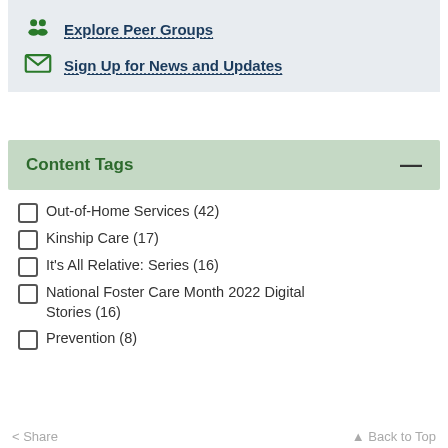Explore Peer Groups
Sign Up for News and Updates
Content Tags
Out-of-Home Services (42)
Kinship Care (17)
It's All Relative: Series (16)
National Foster Care Month 2022 Digital Stories (16)
Prevention (8)
Share   Back to Top